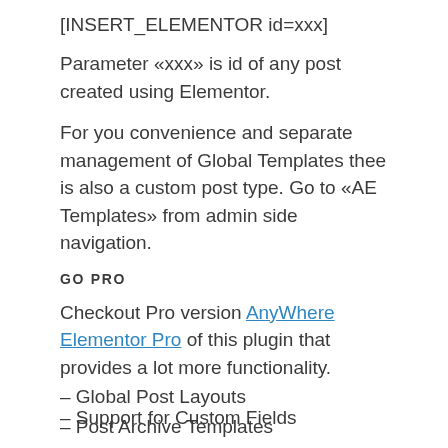[INSERT_ELEMENTOR id=xxx]
Parameter «xxx» is id of any post created using Elementor.
For you convenience and separate management of Global Templates thee is also a custom post type. Go to «AE Templates» from admin side navigation.
GO PRO
Checkout Pro version AnyWhere Elementor Pro of this plugin that provides a lot more functionality.
– Global Post Layouts
– Post Archive Templates
– Category,Tag Templates
– WooCommerce Product & Category Layouts
– Global layouts for Custom Post Types and Custom Taxonomies
– Support for Custom Fields